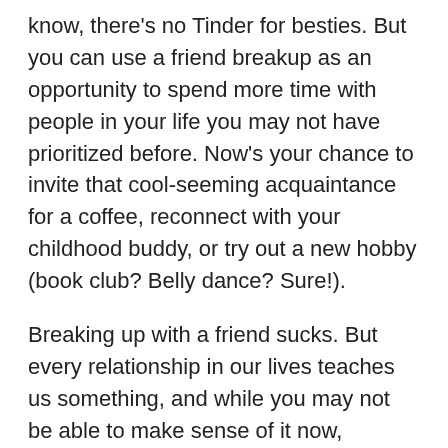know, there's no Tinder for besties. But you can use a friend breakup as an opportunity to spend more time with people in your life you may not have prioritized before. Now's your chance to invite that cool-seeming acquaintance for a coffee, reconnect with your childhood buddy, or try out a new hobby (book club? Belly dance? Sure!).
Breaking up with a friend sucks. But every relationship in our lives teaches us something, and while you may not be able to make sense of it now, chances are you'll look back and realize what this friendship gave you — and what new opportunities you found after it ended.
Talkspace articles are written by experienced mental health-wellness contributors; they are grounded in scientific research and evidence-based practices. Articles